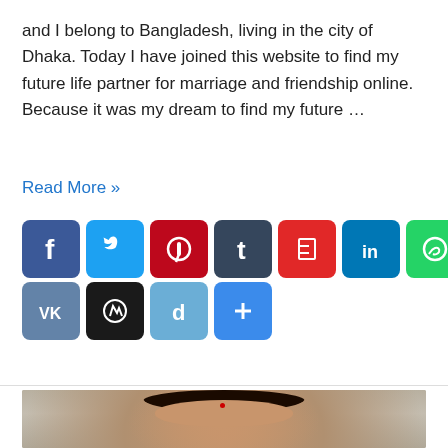and I belong to Bangladesh, living in the city of Dhaka. Today I have joined this website to find my future life partner for marriage and friendship online. Because it was my dream to find my future …
Read More »
[Figure (infographic): Row of social media share icon buttons: Facebook, Twitter, Pinterest, Tumblr, Flipboard, LinkedIn, WhatsApp, Reddit, MySpace. Second row: VKontakte, WordPress, Digg, Share(+).]
[Figure (photo): Photo of a young woman with dark hair, a red bindi on her forehead, red lipstick, and red earrings, wearing a teal/green outfit, against a gravel/stone background.]